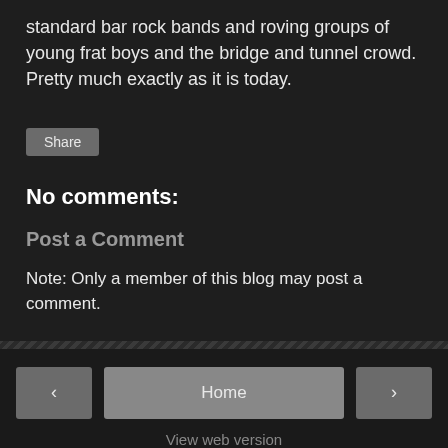standard bar rock bands and roving groups of young frat boys and the bridge and tunnel crowd. Pretty much exactly as it is today.
Share
No comments:
Post a Comment
Note: Only a member of this blog may post a comment.
< Home > View web version Powered by Blogger.